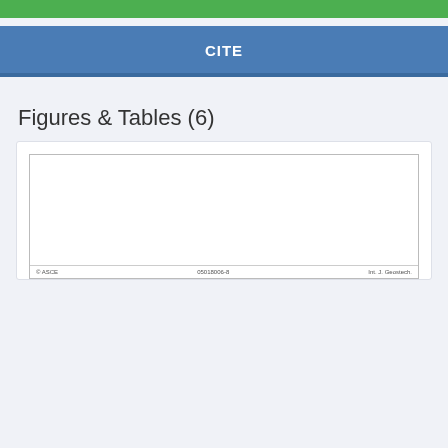CITE
Figures & Tables (6)
[Figure (other): A figure/table thumbnail card with a white blank content area and a footer bar showing '© ASCE', '05018006-8', and 'Int. J. Geostech.']